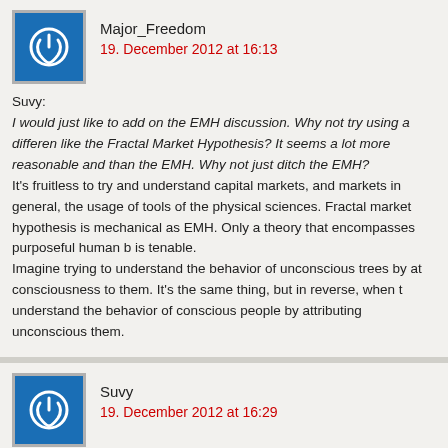Major_Freedom
19. December 2012 at 16:13
Suvy:
I would just like to add on the EMH discussion. Why not try using a different like the Fractal Market Hypothesis? It seems a lot more reasonable and than the EMH. Why not just ditch the EMH?
It's fruitless to try and understand capital markets, and markets in general, the usage of tools of the physical sciences. Fractal market hypothesis is mechanical as EMH. Only a theory that encompasses purposeful human b is tenable.
Imagine trying to understand the behavior of unconscious trees by at consciousness to them. It's the same thing, but in reverse, when t understand the behavior of conscious people by attributing unconscious them.
Suvy
19. December 2012 at 16:29